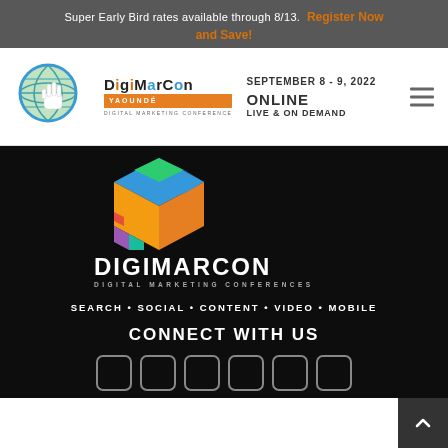Super Early Bird rates available through 8/13.  Register Now and Save!
[Figure (logo): DigiMarCon Yaoundé Digital Marketing Conference logo with globe and cursor icon, navigation bar with date September 8-9, 2022, ONLINE LIVE & ON DEMAND]
[Figure (logo): DigiMarCon Digital Marketing Conferences colorful cube logo on black background]
SEARCH • SOCIAL • CONTENT • VIDEO • MOBILE
CONNECT WITH US